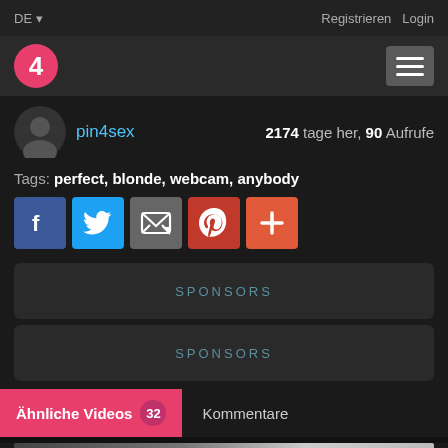DE    Registrieren  Login
[Figure (logo): Logo: pink circle with number 4, hamburger menu icon]
pin4sex    2174 tage her, 90 Aufrufe
Tags: perfect, blonde, webcam, anybody
[Figure (infographic): Social share buttons: Facebook, Twitter, Email, Pinterest, Plus]
SPONSORS
SPONSORS
Ähnliche Videos 32    Kommentare
[Figure (photo): Partial preview image at bottom of page]